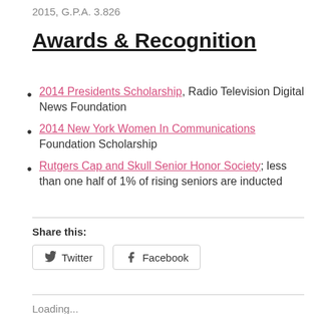2015, G.P.A. 3.826
Awards & Recognition
2014 Presidents Scholarship, Radio Television Digital News Foundation
2014 New York Women In Communications Foundation Scholarship
Rutgers Cap and Skull Senior Honor Society; less than one half of 1% of rising seniors are inducted
Share this:
Twitter  Facebook
Loading...